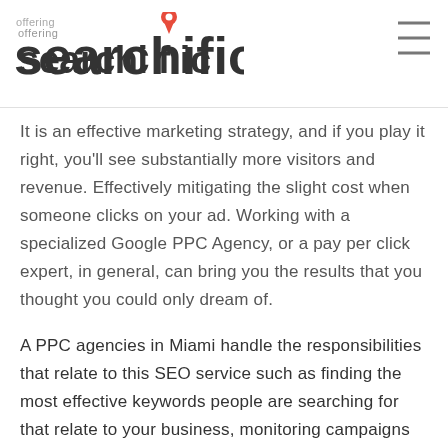[Figure (logo): Searchific logo with 'offering' text above and a map pin icon over the letter 'i']
It is an effective marketing strategy, and if you play it right, you'll see substantially more visitors and revenue. Effectively mitigating the slight cost when someone clicks on your ad. Working with a specialized Google PPC Agency, or a pay per click expert, in general, can bring you the results that you thought you could only dream of.
A PPC agencies in Miami handle the responsibilities that relate to this SEO service such as finding the most effective keywords people are searching for that relate to your business, monitoring campaigns so they are effective (making adjustments as necessary), and creating new ads.